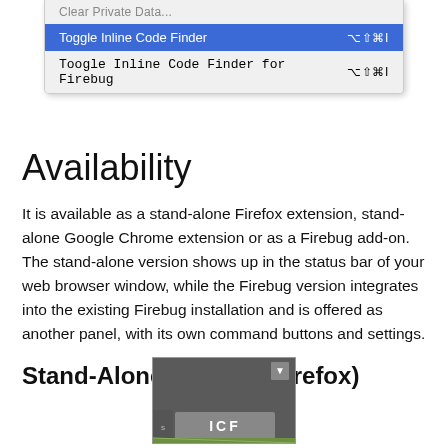[Figure (screenshot): Browser dropdown menu showing 'Toggle Inline Code Finder' selected in blue with keyboard shortcut, and 'Toogle Inline Code Finder for Firebug' below it]
Availability
It is available as a stand-alone Firefox extension, stand-alone Google Chrome extension or as a Firebug add-on. The stand-alone version shows up in the status bar of your web browser window, while the Firebug version integrates into the existing Firebug installation and is offered as another panel, with its own command buttons and settings.
Stand-Alone Version (Firefox)
[Figure (screenshot): Browser status bar showing ICF (Inline Code Finder) button with dropdown arrow]